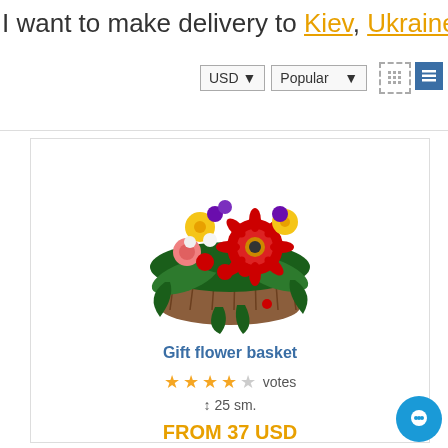I want to make delivery to Kiev, Ukraine.
USD ▼   Popular ▼
[Figure (photo): A gift flower basket filled with colorful flowers including red gerbera, red roses, pink roses, yellow roses/chrysanthemums, purple statice and greenery, arranged in a brown wicker basket.]
Gift flower basket
★★★★☆ votes
↕ 25 sm.
FROM 37 USD